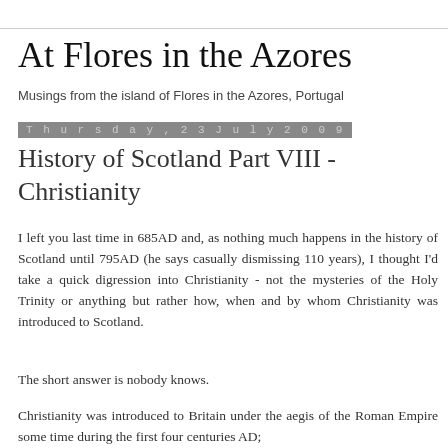At Flores in the Azores
Musings from the island of Flores in the Azores, Portugal
Thursday, 23 July 2009
History of Scotland Part VIII - Christianity
I left you last time in 685AD and, as nothing much happens in the history of Scotland until 795AD (he says casually dismissing 110 years), I thought I'd take a quick digression into Christianity - not the mysteries of the Holy Trinity or anything but rather how, when and by whom Christianity was introduced to Scotland.
The short answer is nobody knows.
Christianity was introduced to Britain under the aegis of the Roman Empire some time during the first four centuries AD;